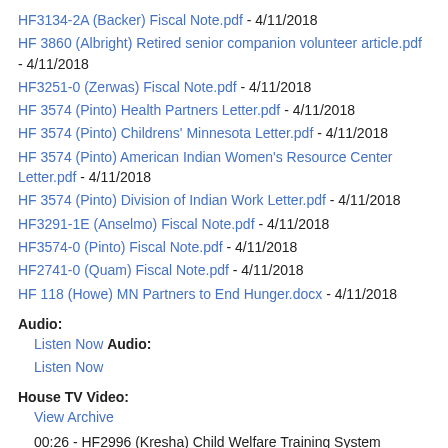HF3134-2A (Backer) Fiscal Note.pdf - 4/11/2018
HF 3860 (Albright) Retired senior companion volunteer article.pdf - 4/11/2018
HF3251-0 (Zerwas) Fiscal Note.pdf - 4/11/2018
HF 3574 (Pinto) Health Partners Letter.pdf - 4/11/2018
HF 3574 (Pinto) Childrens' Minnesota Letter.pdf - 4/11/2018
HF 3574 (Pinto) American Indian Women's Resource Center Letter.pdf - 4/11/2018
HF 3574 (Pinto) Division of Indian Work Letter.pdf - 4/11/2018
HF3291-1E (Anselmo) Fiscal Note.pdf - 4/11/2018
HF3574-0 (Pinto) Fiscal Note.pdf - 4/11/2018
HF2741-0 (Quam) Fiscal Note.pdf - 4/11/2018
HF 118 (Howe) MN Partners to End Hunger.docx - 4/11/2018
Audio:
Listen Now Audio:
Listen Now
House TV Video:
View Archive
00:26 - HF2996 (Kresha) Child Welfare Training System modification required, report required, rulemaking authorized,